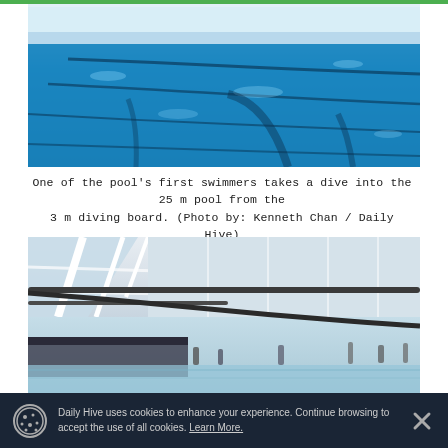[Figure (photo): Aerial/angled view of a blue swimming pool with lane markers visible on the water surface, taken from the diving board end.]
One of the pool's first swimmers takes a dive into the 25 m pool from the 3 m diving board. (Photo by: Kenneth Chan / Daily Hive)
[Figure (photo): Interior view of a modern aquatic centre with large windows, white structural beams, a pool in the foreground, and spectators/swimmers visible in the background.]
Daily Hive uses cookies to enhance your experience. Continue browsing to accept the use of all cookies. Learn More.